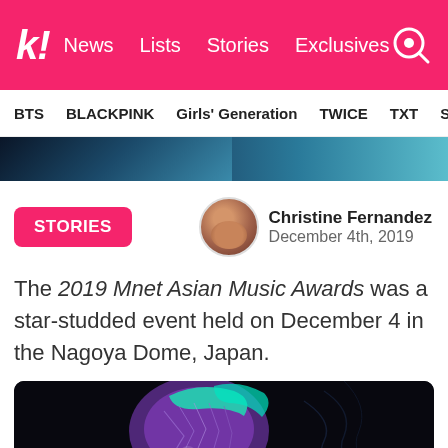k! News | Lists | Stories | Exclusives
BTS | BLACKPINK | Girls' Generation | TWICE | TXT | SEVE
[Figure (photo): Partial hero/banner image showing a dark blue concert scene]
STORIES
Christine Fernandez
December 4th, 2019
The 2019 Mnet Asian Music Awards was a star-studded event held on December 4 in the Nagoya Dome, Japan.
[Figure (photo): Mnet Asian Music Awards promotional graphic with purple/green glowing figure on dark background, text reads 'Mnet ASIAN MUSIC AWARDS']